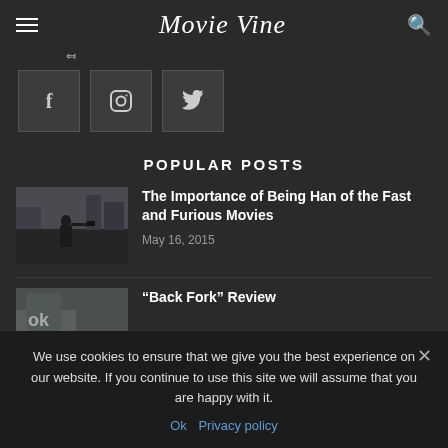Movie Vine
[Figure (other): Social media icon buttons: Facebook (f), Instagram, Twitter]
POPULAR POSTS
[Figure (photo): Movie still showing a person in dark clothing aiming a gun on a city street]
The Importance of Being Han of the Fast and Furious Movies
May 16, 2015
[Figure (photo): Movie still thumbnail partially visible]
“Back Fork” Review
We use cookies to ensure that we give you the best experience on our website. If you continue to use this site we will assume that you are happy with it.
Ok  Privacy policy